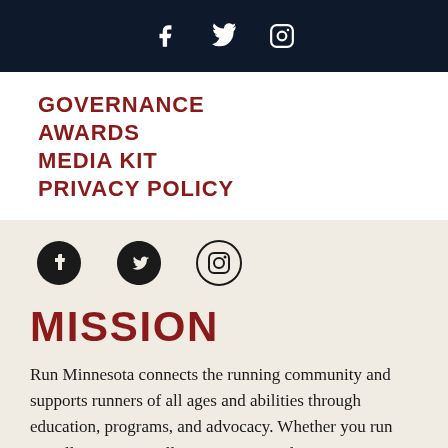Social media icons: Facebook, Twitter, Instagram
GOVERNANCE
AWARDS
MEDIA KIT
PRIVACY POLICY
[Figure (infographic): Social media icons on beige background: Facebook, Twitter, Instagram]
MISSION
Run Minnesota connects the running community and supports runners of all ages and abilities through education, programs, and advocacy. Whether you run socially, recreationally, or competitively, Run Minnesota can help you achieve your running goals.